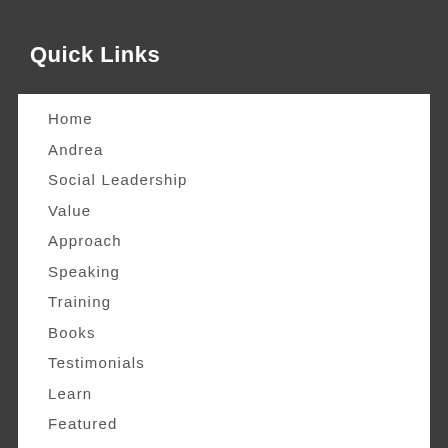Quick Links
Home
Andrea
Social Leadership
Value
Approach
Speaking
Training
Books
Testimonials
Learn
Featured
Podcast
Blog